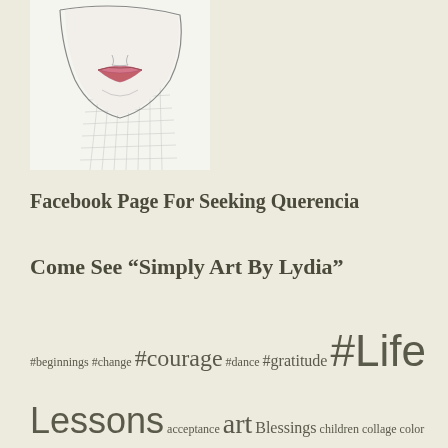[Figure (illustration): Pencil sketch illustration of a woman's face/neck from below, showing chin, lips with pink color, and crosshatched neck]
Facebook Page For Seeking Querencia
Come See “Simply Art By Lydia”
#beginnings #change #courage #dance #gratitude #Life Lessons acceptance art Blessings children collage color creativity death fear Fibromyalgia God Gratitude Health heart home inner peace journey kindness life lifelessons love maya angelou meditation mindfulness Pain Paint Poetry polyvore